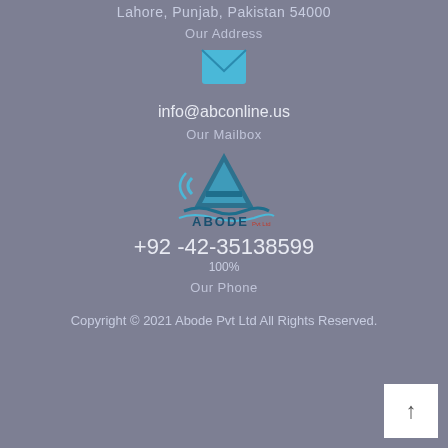Lahore, Punjab, Pakistan 54000
Our Address
[Figure (illustration): Blue envelope/mail icon]
info@abconline.us
Our Mailbox
[Figure (logo): Abode Pvt Ltd logo with teal and blue A letter design and wave/wifi symbol]
+92 -42-35138599
100%
Our Phone
Copyright © 2021 Abode Pvt Ltd All Rights Reserved.